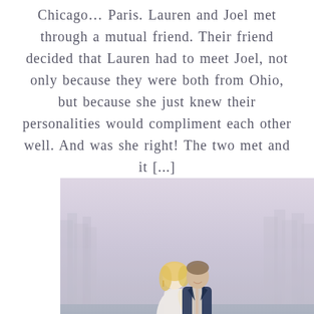Chicago… Paris. Lauren and Joel met through a mutual friend. Their friend decided that Lauren had to meet Joel, not only because they were both from Ohio, but because she just knew their personalities would compliment each other well. And was she right! The two met and it [...]
[Figure (photo): A couple posing together outdoors near a waterfront with a misty city skyline in the background. The woman has blonde hair and is wearing a white dress, the man is wearing a dark navy suit. They are smiling and embracing.]